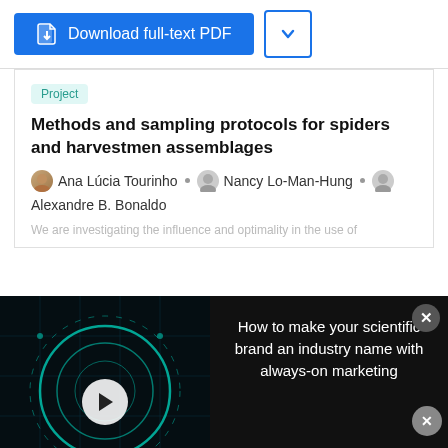[Figure (screenshot): Download full-text PDF button (blue) and chevron dropdown button]
Project
Methods and sampling protocols for spiders and harvestmen assemblages
Ana Lúcia Tourinho · Nancy Lo-Man-Hung · Alexandre B. Bonaldo
We are investigating the influence and optimality in the use of
[Figure (screenshot): Video popup: 'How to make your scientific brand an industry name with always-on marketing' with video thumbnail on left and text on right, close button top right]
Article
Advertisement
[Figure (screenshot): Bottom advertisement banner: Petco logo with checkmarks for In-store shopping and Curbside pickup, navigation arrow icon on right]